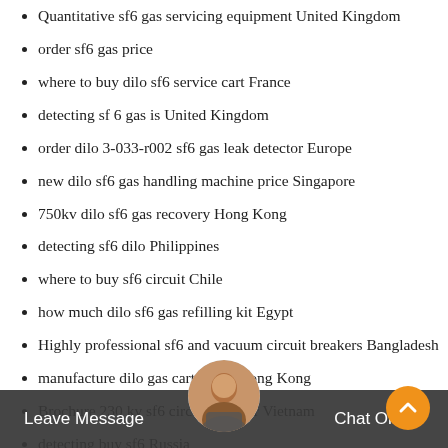Quantitative sf6 gas servicing equipment United Kingdom
order sf6 gas price
where to buy dilo sf6 service cart France
detecting sf 6 gas is United Kingdom
order dilo 3-033-r002 sf6 gas leak detector Europe
new dilo sf6 gas handling machine price Singapore
750kv dilo sf6 gas recovery Hong Kong
detecting sf6 dilo Philippines
where to buy sf6 circuit Chile
how much dilo sf6 gas refilling kit Egypt
Highly professional sf6 and vacuum circuit breakers Bangladesh
manufacture dilo gas cart rental Hong Kong
Brochure 230 kv sf6 circuit breaker Vietnam
detecting buy sf6 Russia
Leave Message   Chat Online